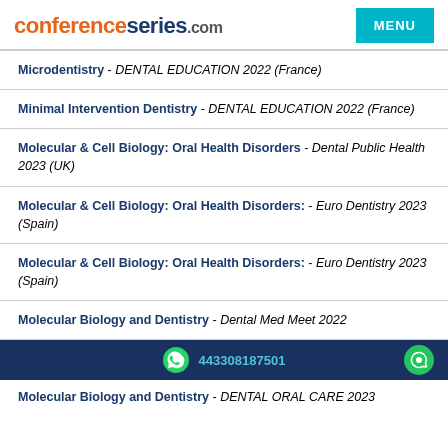conferenceseries.com MENU
Microdentistry - DENTAL EDUCATION 2022 (France)
Minimal Intervention Dentistry - DENTAL EDUCATION 2022 (France)
Molecular & Cell Biology: Oral Health Disorders - Dental Public Health 2023 (UK)
Molecular & Cell Biology: Oral Health Disorders: - Euro Dentistry 2023 (Spain)
Molecular & Cell Biology: Oral Health Disorders: - Euro Dentistry 2023 (Spain)
Molecular Biology and Dentistry - Dental Med Meet 2022 (Czech Republic)
Molecular Biology and Dentistry - DENTAL ORAL CARE 2023